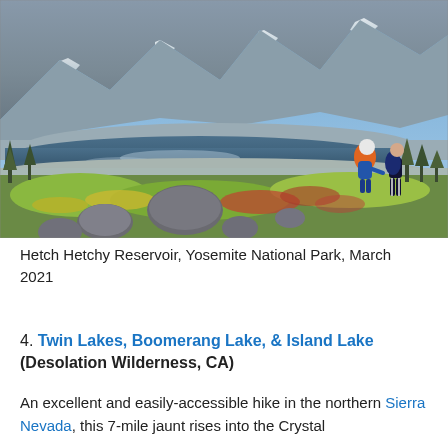[Figure (photo): Outdoor photo showing Hetch Hetchy Reservoir in Yosemite National Park. Background shows snow-capped rocky mountains. Middle ground shows a still reflective reservoir. Foreground shows colorful alpine vegetation, large boulders, and two hikers with backpacks climbing a rocky trail. Photo taken in March 2021.]
Hetch Hetchy Reservoir, Yosemite National Park, March 2021
4. Twin Lakes, Boomerang Lake, & Island Lake (Desolation Wilderness, CA)
An excellent and easily-accessible hike in the northern Sierra Nevada, this 7-mile jaunt rises into the Crystal